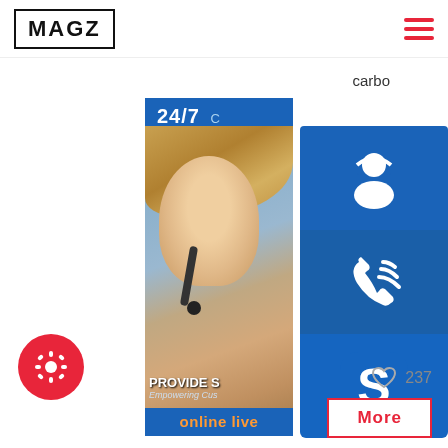MAGZ
[Figure (screenshot): Website screenshot showing MAGZ logo header, customer service widget with 24/7 banner, photo of woman with headset, blue icon buttons (headset, phone, Skype), online live button, article text about carbon steel, like count 237, and More button. Settings gear button bottom left.]
carbo
24/7
PROVIDE
Empowering Cus
online live
steel. With its low carbon equ
237
More